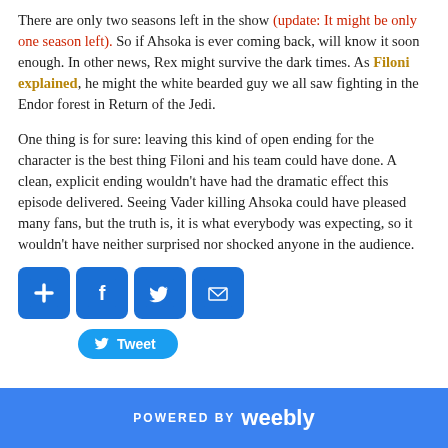There are only two seasons left in the show (update: It might be only one season left). So if Ahsoka is ever coming back, will know it soon enough. In other news, Rex might survive the dark times. As Filoni explained, he might the white bearded guy we all saw fighting in the Endor forest in Return of the Jedi.
One thing is for sure: leaving this kind of open ending for the character is the best thing Filoni and his team could have done. A clean, explicit ending wouldn't have had the dramatic effect this episode delivered. Seeing Vader killing Ahsoka could have pleased many fans, but the truth is, it is what everybody was expecting, so it wouldn't have neither surprised nor shocked anyone in the audience.
[Figure (infographic): Social sharing buttons: plus/add, Facebook, Twitter, Mail icons (blue squares with rounded corners), and a Tweet button]
POWERED BY weebly